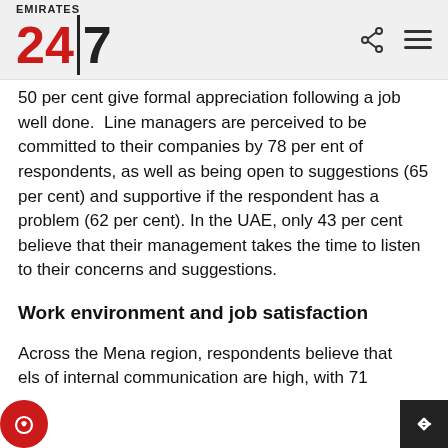Emirates 24|7
50 per cent give formal appreciation following a job well done.  Line managers are perceived to be committed to their companies by 78 per ent of respondents, as well as being open to suggestions (65 per cent) and supportive if the respondent has a problem (62 per cent). In the UAE, only 43 per cent believe that their management takes the time to listen to their concerns and suggestions.
Work environment and job satisfaction
Across the Mena region, respondents believe that levels of internal communication are high, with 71